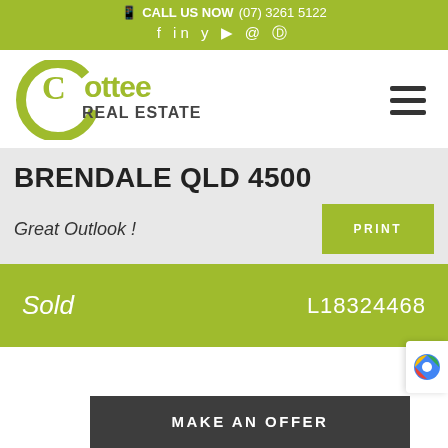CALL US NOW (07) 3261 5122
[Figure (logo): Cottee Real Estate logo - green circular C with Cottee in yellow-green and REAL ESTATE in dark grey]
BRENDALE QLD 4500
Great Outlook !
PRINT
Sold   L18324468
MAKE AN OFFER